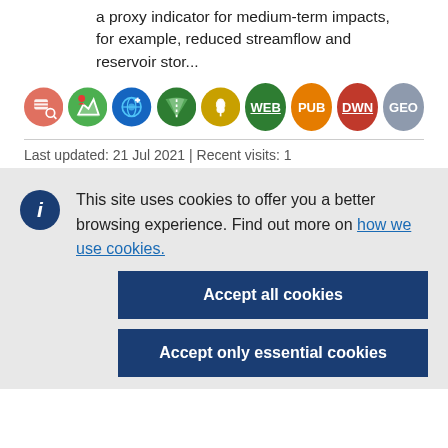a proxy indicator for medium-term impacts, for example, reduced streamflow and reservoir stor...
[Figure (infographic): Row of circular icons: search/data icon (red-orange), chart icon (green), eye/globe icon (blue), road icon (dark green), wheat icon (gold), then label badges: WEB (dark green), PUB (orange), DWN (red, underlined), GEO (gray)]
Last updated: 21 Jul 2021 | Recent visits: 1
This site uses cookies to offer you a better browsing experience. Find out more on how we use cookies.
Accept all cookies
Accept only essential cookies